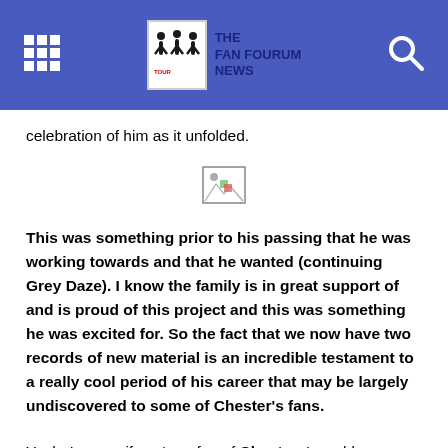THE FAN FOURUM NEWS
celebration of him as it unfolded.
[Figure (illustration): Broken image placeholder icon]
This was something prior to his passing that he was working towards and that he wanted (continuing Grey Daze). I know the family is in great support of and is proud of this project and this was something he was excited for. So the fact that we now have two records of new material is an incredible testament to a really cool period of his career that may be largely undiscovered to some of Chester's fans.
Yeah. I mean, if you're a fan of Chester, I would assume that you would enjoy what we did with the music. I liked every project that he ever did. Everything from, of course, Linkin